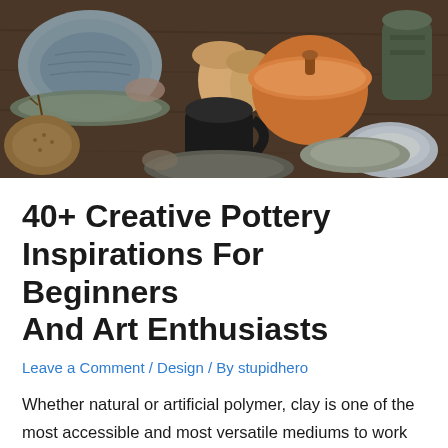[Figure (photo): A collection of handmade pottery pieces — bowls, mugs, plates, jars, and decorative items in earthy tones of brown, grey, black, and tan, arranged on a wooden surface.]
40+ Creative Pottery Inspirations For Beginners And Art Enthusiasts
Leave a Comment / Design / By stupidhero
Whether natural or artificial polymer, clay is one of the most accessible and most versatile mediums to work with. There is nothing more satisfying than using a handmade mug or arranging the spring flowers into a vase made by using your creativity. But